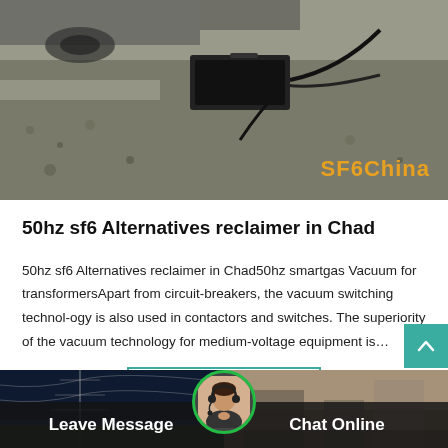[Figure (photo): Outdoor photo showing gravel ground with SF6 electrical equipment/case and cables, with 'SF6China' watermark in orange text at bottom right]
50hz sf6 Alternatives reclaimer in Chad
50hz sf6 Alternatives reclaimer in Chad50hz smartgas Vacuum for transformersApart from circuit-breakers, the vacuum switching technol-ogy is also used in contactors and switches. The superiority of the vacuum technology for medium-voltage equipment is…
[Figure (other): Get Price button with teal border and teal text]
[Figure (photo): Bottom bar with two background photos (electrical tower on left, industrial on right), dark overlay, 'Leave Message' text on left, 'Chat Online' on right, circular avatar with customer service agent in center with green border]